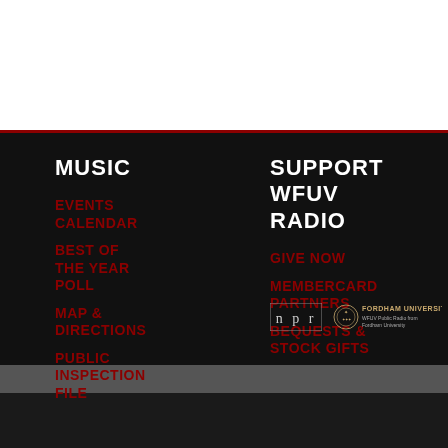MUSIC
EVENTS CALENDAR
BEST OF THE YEAR POLL
MAP & DIRECTIONS
PUBLIC INSPECTION FILE
SUPPORT WFUV RADIO
GIVE NOW
MEMBERCARD PARTNERS
BEQUESTS & STOCK GIFTS
[Figure (logo): NPR logo in a box with letters n, p, r]
[Figure (logo): Fordham University seal with text FORDHAM UNIVERSITY and WFUV Public Radio from Fordham University]